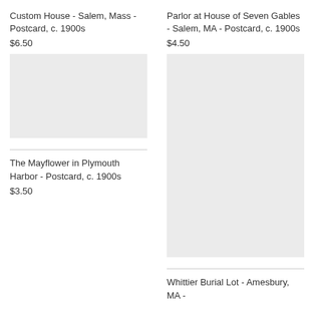Custom House - Salem, Mass - Postcard, c. 1900s
$6.50
[Figure (photo): Placeholder image for Custom House postcard]
The Mayflower in Plymouth Harbor - Postcard, c. 1900s
$3.50
Parlor at House of Seven Gables - Salem, MA - Postcard, c. 1900s
$4.50
[Figure (photo): Placeholder image for Parlor at House of Seven Gables postcard]
Whittier Burial Lot - Amesbury, MA -